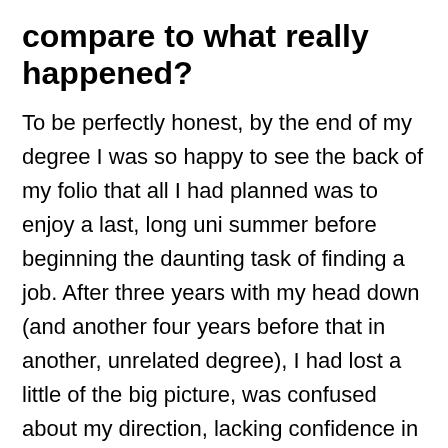compare to what really happened?
To be perfectly honest, by the end of my degree I was so happy to see the back of my folio that all I had planned was to enjoy a last, long uni summer before beginning the daunting task of finding a job. After three years with my head down (and another four years before that in another, unrelated degree), I had lost a little of the big picture, was confused about my direction, lacking confidence in my work, and ultimately desperate for some long-awaited routine and stability. However, as luck would have it,